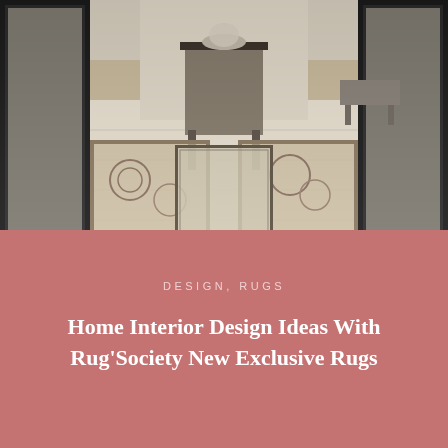[Figure (photo): Luxury interior hallway with ornate patterned rugs on marble floor, dark console table in center, mirrored walls on either side reflecting the corridor]
DESIGN, RUGS
Home Interior Design Ideas With Rug'Society New Exclusive Rugs